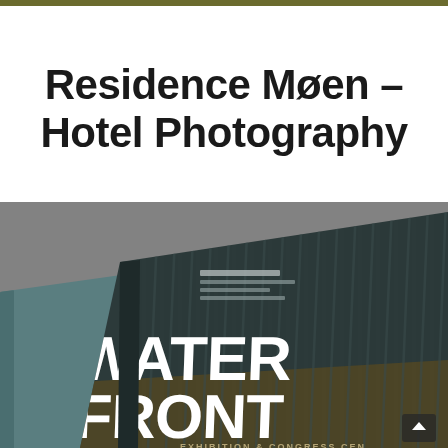Residence Møen – Hotel Photography
[Figure (photo): A photo of a printed brochure/book titled 'WATERFRONT' with subtitle 'EXHIBITION & CONGRESS CENTER', lying on a granite surface. The brochure has a dark teal/blue cover with vertical stripe patterns and large bold white text reading WATER FRONT on the cover.]